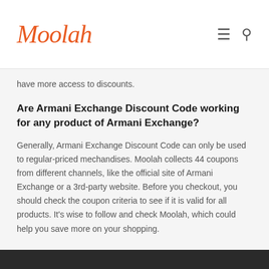Moolah
have more access to discounts.
Are Armani Exchange Discount Code working for any product of Armani Exchange?
Generally, Armani Exchange Discount Code can only be used to regular-priced mechandises. Moolah collects 44 coupons from different channels, like the official site of Armani Exchange or a 3rd-party website. Before you checkout, you should check the coupon criteria to see if it is valid for all products. It's wise to follow and check Moolah, which could help you save more on your shopping.